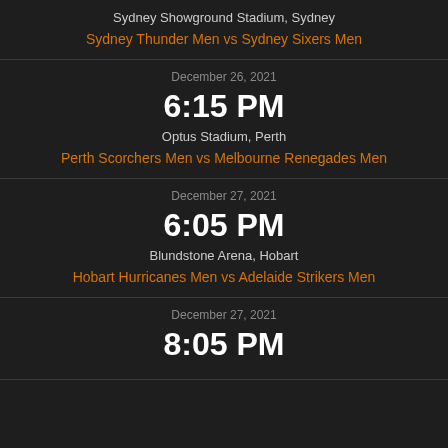Sydney Showground Stadium, Sydney
Sydney Thunder Men vs Sydney Sixers Men
December 26, 2021
6:15 PM
Optus Stadium, Perth
Perth Scorchers Men vs Melbourne Renegades Men
December 27, 2021
6:05 PM
Blundstone Arena, Hobart
Hobart Hurricanes Men vs Adelaide Strikers Men
December 27, 2021
8:05 PM